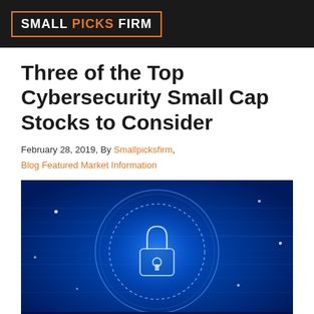SMALL PICKS FIRM
Three of the Top Cybersecurity Small Cap Stocks to Consider
February 28, 2019, By Smallpicksfirm, Blog Featured Market Information
[Figure (photo): Cybersecurity concept image showing a glowing blue padlock inside a digital circle with 'SCANNING...' text repeated across the bottom, on a blue background with light streaks]